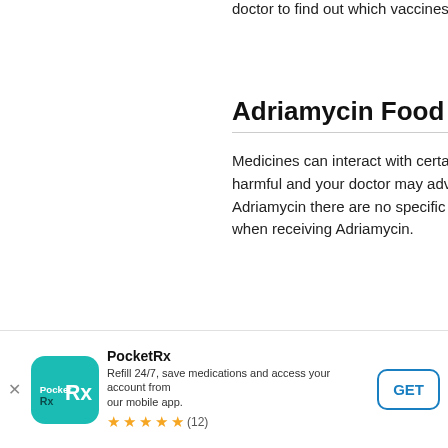doctor to find out which vaccines are
Adriamycin Food Interac
Medicines can interact with certain fo harmful and your doctor may advise Adriamycin there are no specific foo when receiving Adriamycin.
[Figure (illustration): Accessibility icon — circular button with a person symbol, dark blue outline]
Inform MD
Before you receive Adriamycin, tell y
have heart problems
[Figure (screenshot): PocketRx app banner: teal app icon with PocketRx logo, title PocketRx, description Refill 24/7 save medications and access your account from our mobile app, 5 star rating with (12) reviews, GET button]